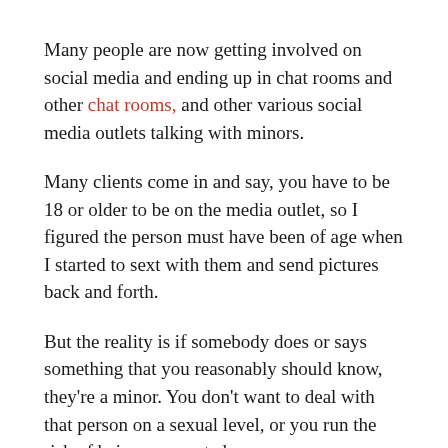Many people are now getting involved on social media and ending up in chat rooms and other chat rooms, and other various social media outlets talking with minors.
Many clients come in and say, you have to be 18 or older to be on the media outlet, so I figured the person must have been of age when I started to sext with them and send pictures back and forth.
But the reality is if somebody does or says something that you reasonably should know, they're a minor. You don't want to deal with that person on a sexual level, or you run the risk of being prosecuted.
That is one of the defenses that I did not know that this person was under 18.  They were on a site that you had to be 18 years or older to be on the site.
So, why would I think that they were under the age of